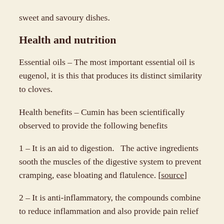sweet and savoury dishes.
Health and nutrition
Essential oils – The most important essential oil is eugenol, it is this that produces its distinct similarity to cloves.
Health benefits – Cumin has been scientifically observed to provide the following benefits
1 – It is an aid to digestion.   The active ingredients sooth the muscles of the digestive system to prevent cramping, ease bloating and flatulence. [source]
2 – It is anti-inflammatory, the compounds combine to reduce inflammation and also provide pain relief